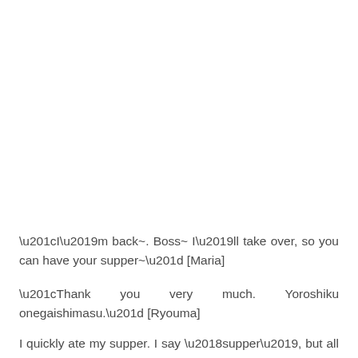“I’m back~. Boss~ I’ll take over, so you can have your supper~” [Maria]
“Thank you very much. Yoroshiku onegaishimasu.” [Ryouma]
I quickly ate my supper. I say ‘supper’, but all I would